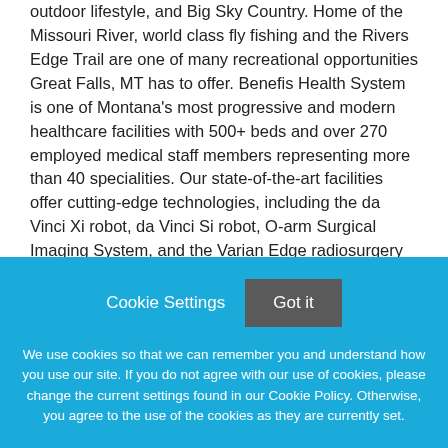outdoor lifestyle, and Big Sky Country. Home of the Missouri River, world class fly fishing and the Rivers Edge Trail are one of many recreational opportunities Great Falls, MT has to offer. Benefis Health System is one of Montana's most progressive and modern healthcare facilities with 500+ beds and over 270 employed medical staff members representing more than 40 specialities. Our state-of-the-art facilities offer cutting-edge technologies, including the da Vinci Xi robot, da Vinci Si robot, O-arm Surgical Imaging System, and the Varian Edge radiosurgery system.
Cookie Settings
Got it
We use cookies so that we can remember you and understand how you use our site. If you do not agree with our use of cookies, please change the current settings found in our Cookie Policy. Otherwise, you agree to the use of the cookies as they are currently set.